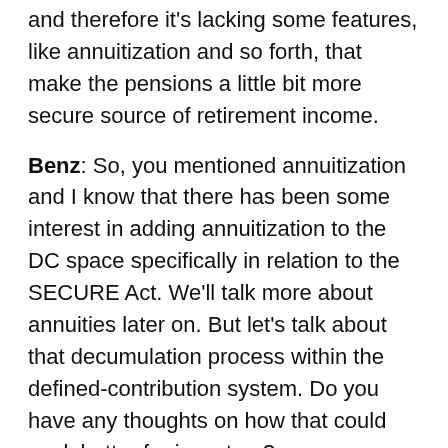and therefore it's lacking some features, like annuitization and so forth, that make the pensions a little bit more secure source of retirement income.
Benz: So, you mentioned annuitization and I know that there has been some interest in adding annuitization to the DC space specifically in relation to the SECURE Act. We'll talk more about annuities later on. But let's talk about that decumulation process within the defined-contribution system. Do you have any thoughts on how that could work better for investors?
Brown: Yeah, so I always tell people that it's really important when you think about retirement planning to recognize that saving for retirement is really only half of the puzzle. The other half of the puzzle is figuring out how